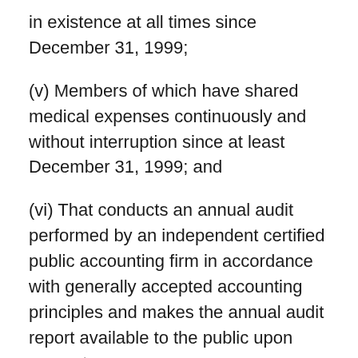in existence at all times since December 31, 1999;
(v) Members of which have shared medical expenses continuously and without interruption since at least December 31, 1999; and
(vi) That conducts an annual audit performed by an independent certified public accounting firm in accordance with generally accepted accounting principles and makes the annual audit report available to the public upon request.
Rev. Rul. 69-175 held that a nonprofit